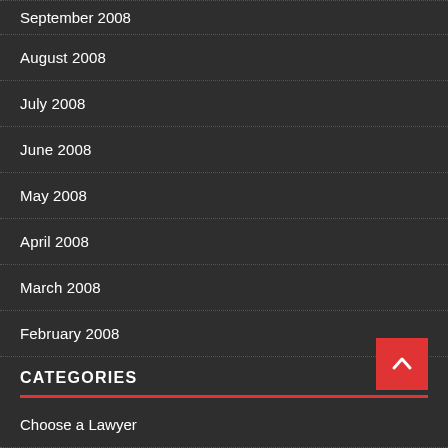September 2008
August 2008
July 2008
June 2008
May 2008
April 2008
March 2008
February 2008
CATEGORIES
Choose a Lawyer
Criminal
General
General Article
Handle a Case